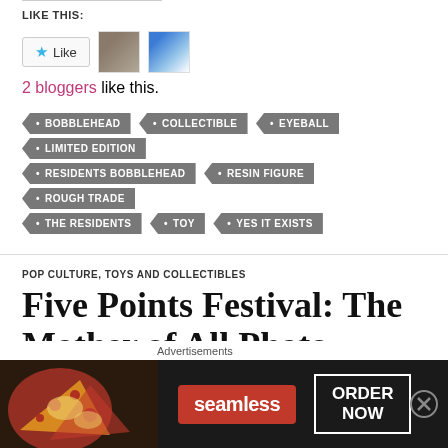LIKE THIS:
[Figure (other): Like button with star icon and two blogger avatar thumbnails]
2 bloggers like this.
BOBBLEHEAD
COLLECTIBLE
EYEBALL
LIMITED EDITION
RESIDENTS BOBBLEHEAD
RESIN FIGURE
ROUGH TRADE
THE RESIDENTS
TOY
YES IT EXISTS
POP CULTURE, TOYS AND COLLECTIBLES
Five Points Festival: The Mother of All Photo
Advertisements
[Figure (other): Seamless food delivery advertisement banner with pizza image, Seamless logo, and ORDER NOW button]